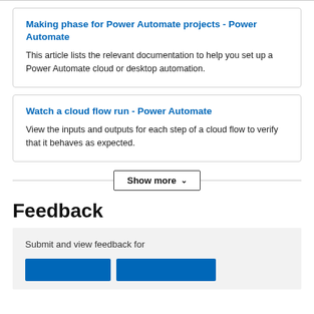Making phase for Power Automate projects - Power Automate
This article lists the relevant documentation to help you set up a Power Automate cloud or desktop automation.
Watch a cloud flow run - Power Automate
View the inputs and outputs for each step of a cloud flow to verify that it behaves as expected.
Show more
Feedback
Submit and view feedback for